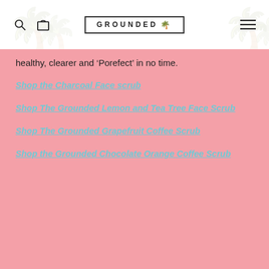GROUNDED
healthy, clearer and ‘Porefect’ in no time.
Shop the Charcoal Face scrub
Shop The Grounded Lemon and Tea Tree Face Scrub
Shop The Grounded Grapefruit Coffee Scrub
Shop the Grounded Chocolate Orange Coffee Scrub